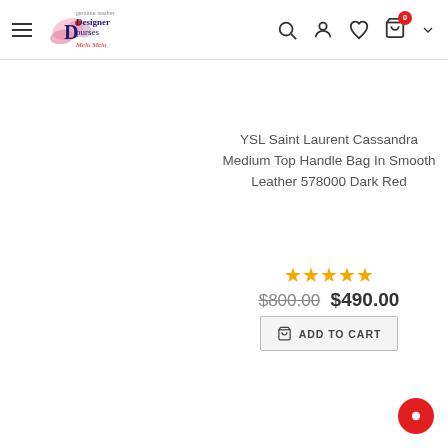Designer Purses Melu Melu — Navigation header with logo, search, account, wishlist, cart icons
YSL Saint Laurent Cassandra Medium Top Handle Bag In Smooth Leather 578000 Dark Red
★★★★★
$800.00  $490.00
ADD TO CART